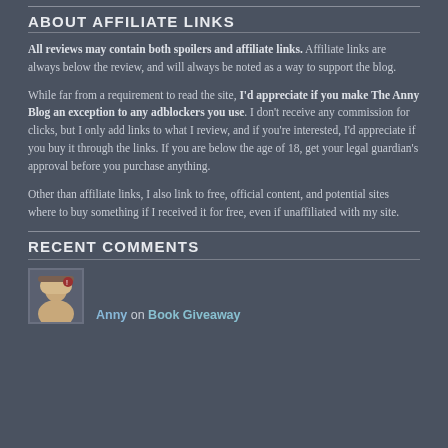ABOUT AFFILIATE LINKS
All reviews may contain both spoilers and affiliate links. Affiliate links are always below the review, and will always be noted as a way to support the blog.
While far from a requirement to read the site, I'd appreciate if you make The Anny Blog an exception to any adblockers you use. I don't receive any commission for clicks, but I only add links to what I review, and if you're interested, I'd appreciate if you buy it through the links. If you are below the age of 18, get your legal guardian's approval before you purchase anything.
Other than affiliate links, I also link to free, official content, and potential sites where to buy something if I received it for free, even if unaffiliated with my site.
RECENT COMMENTS
Anny on Book Giveaway